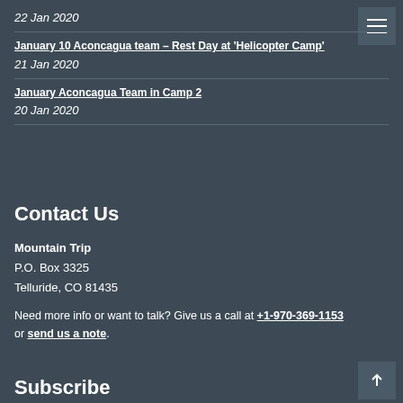22 Jan 2020
January 10 Aconcagua team – Rest Day at 'Helicopter Camp'
21 Jan 2020
January Aconcagua Team in Camp 2
20 Jan 2020
Contact Us
Mountain Trip
P.O. Box 3325
Telluride, CO 81435
Need more info or want to talk? Give us a call at +1-970-369-1153 or send us a note.
Subscribe